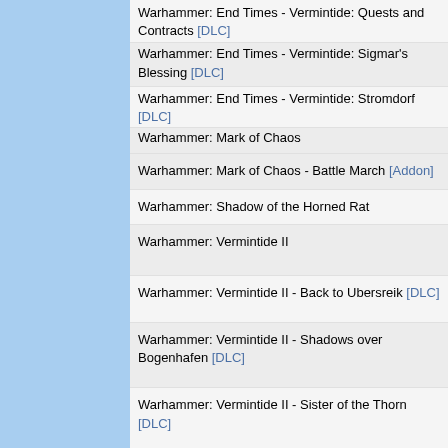Warhammer: End Times - Vermintide: Quests and Contracts [DLC]
Warhammer: End Times - Vermintide: Sigmar's Blessing [DLC]
Warhammer: End Times - Vermintide: Stromdorf [DLC]
Warhammer: Mark of Chaos
Warhammer: Mark of Chaos - Battle March [Addon]
Warhammer: Shadow of the Horned Rat
Warhammer: Vermintide II
Warhammer: Vermintide II - Back to Ubersreik [DLC]
Warhammer: Vermintide II - Shadows over Bogenhafen [DLC]
Warhammer: Vermintide II - Sister of the Thorn [DLC]
Warhammer: Vermintide II - Winds of Magic [Addon]
Warhawk
Warhawk
Warhawk
Warhawk 2
Warhawks: European Theater